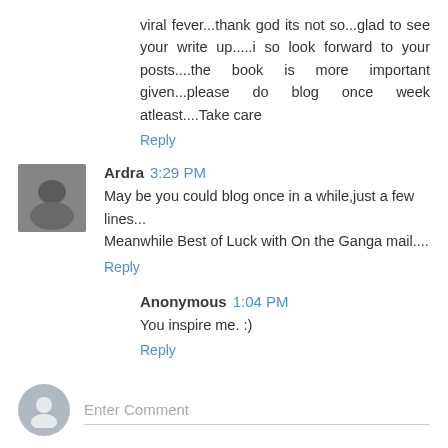viral fever...thank god its not so...glad to see your write up.....i so look forward to your posts....the book is more important given...please do blog once week atleast....Take care
Reply
Ardra 3:29 PM
May be you could blog once in a while,just a few lines... Meanwhile Best of Luck with On the Ganga mail....
Reply
Anonymous 1:04 PM
You inspire me. :)
Reply
Enter Comment